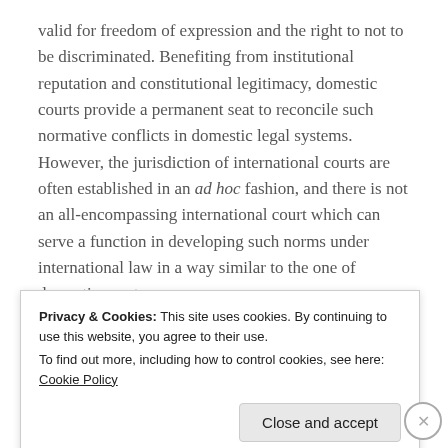valid for freedom of expression and the right to not to be discriminated. Benefiting from institutional reputation and constitutional legitimacy, domestic courts provide a permanent seat to reconcile such normative conflicts in domestic legal systems. However, the jurisdiction of international courts are often established in an ad hoc fashion, and there is not an all-encompassing international court which can serve a function in developing such norms under international law in a way similar to the one of domestic courts.
Posner points out that the lack of institutionalization as th...
Privacy & Cookies: This site uses cookies. By continuing to use this website, you agree to their use.
To find out more, including how to control cookies, see here: Cookie Policy